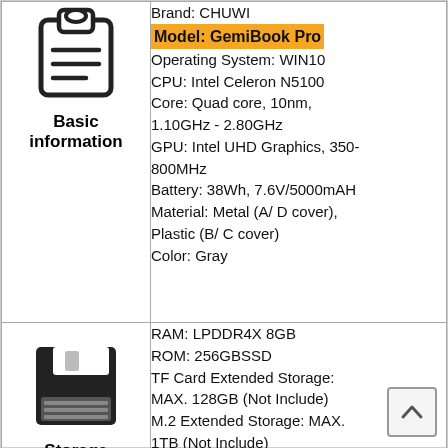| Category | Details |
| --- | --- |
| Basic information (clipboard icon) | Brand: CHUWI
Model: GemiBook Pro
Operating System: WIN10
CPU: Intel Celeron N5100
Core: Quad core, 10nm, 1.10GHz - 2.80GHz
GPU: Intel UHD Graphics, 350-800MHz
Battery: 38Wh, 7.6V/5000mAH
Material: Metal (A/ D cover), Plastic (B/ C cover)
Color: Gray |
| Storage (floppy disk icon) | RAM: LPDDR4X 8GB
ROM: 256GBSSD
TF Card Extended Storage: MAX. 128GB (Not Include)
M.2 Extended Storage: MAX. 1TB (Not Include)
About Storage: The actual available internal storage may differ depending on the software... |